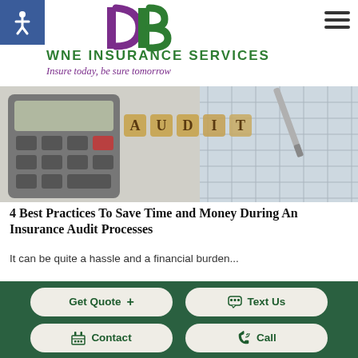[Figure (logo): DB Insurance logo with purple D and green B letters, stylized]
DOWNE INSURANCE SERVICES
Insure today, be sure tomorrow
[Figure (photo): Hero image showing calculator, AUDIT wooden letter tiles, and spreadsheet documents]
4 Best Practices To Save Time and Money During An Insurance Audit Processes
It can be quite a hassle and a financial burden...
Get Quote +  |  Text Us  |  Contact  |  Call